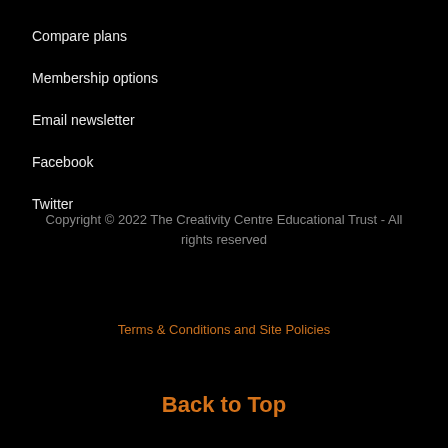Compare plans
Membership options
Email newsletter
Facebook
Twitter
Copyright © 2022 The Creativity Centre Educational Trust - All rights reserved
Terms & Conditions and Site Policies
Back to Top